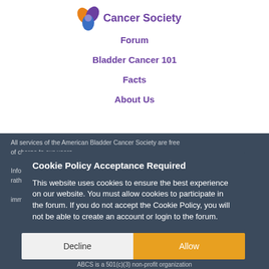[Figure (logo): American Bladder Cancer Society logo with flower/ribbon icon and text 'Cancer Society']
Forum
Bladder Cancer 101
Facts
About Us
All services of the American Bladder Cancer Society are free of charge to our users.
Cookie Policy Acceptance Required
This website uses cookies to ensure the best experience on our website. You must allow cookies to participate in the forum. If you do not accept the Cookie Policy, you will not be able to create an account or login to the forum.
Decline
Allow
ABCS is a 501(c)(3) non-profit organization